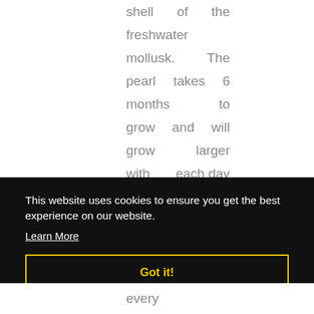shell of the freshwater mollusk. The pearl takes 6 months to grow and will grow larger with each day
This website uses cookies to ensure you get the best experience on our website.
Learn More
Got it!
every